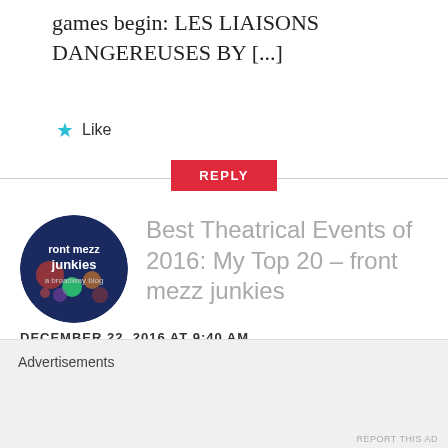games begin: LES LIAISONS DANGEREUSES BY [...]
★ Like
REPLY
[Figure (logo): Circular avatar image for 'front mezz junkies - a broadway blog' with dark blue background and colorful bokeh lights]
Best Theatrical Events of 2016: My Top 20 – front mezz junkies
DECEMBER 22, 2016 AT 9:40 AM
Advertisements
REPORT THIS AD